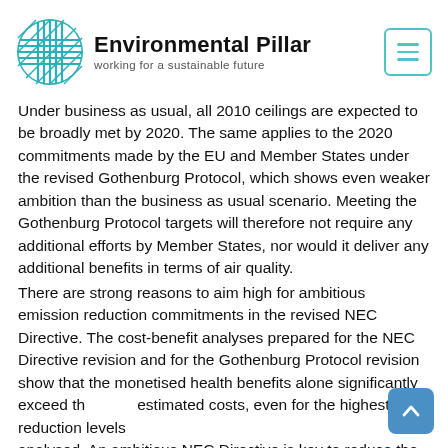[Figure (logo): Environmental Pillar logo with circular teal woven pattern icon, bold title 'Environmental Pillar', subtitle 'working for a sustainable future']
Under business as usual, all 2010 ceilings are expected to be broadly met by 2020. The same applies to the 2020 commitments made by the EU and Member States under the revised Gothenburg Protocol, which shows even weaker ambition than the business as usual scenario. Meeting the Gothenburg Protocol targets will therefore not require any additional efforts by Member States, nor would it deliver any additional benefits in terms of air quality.
There are strong reasons to aim high for ambitious emission reduction commitments in the revised NEC Directive. The cost-benefit analyses prepared for the NEC Directive revision and for the Gothenburg Protocol revision show that the monetised health benefits alone significantly exceed the estimated costs, even for the highest reduction levels analysed. An ambitious NEC Directive is key to reduce the